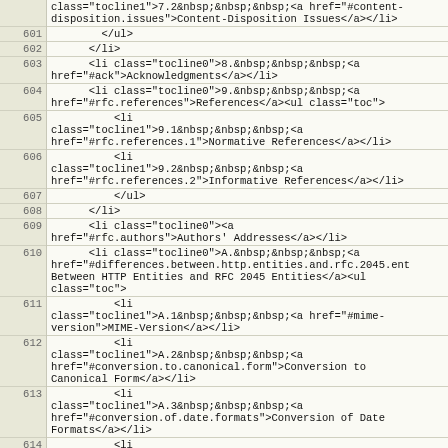| line | code |
| --- | --- |
|  | class="tocline1">7.2&nbsp;&nbsp;&nbsp;<a href="#content-disposition.issues">Content-Disposition Issues</a></li> |
| 601 |     </ul> |
| 602 |   </li> |
| 603 |   <li class="tocline0">8.&nbsp;&nbsp;&nbsp;<a href="#ack">Acknowledgments</a></li> |
| 604 |   <li class="tocline0">9.&nbsp;&nbsp;&nbsp;<a href="#rfc.references">References</a><ul class="toc"> |
| 605 |     <li class="tocline1">9.1&nbsp;&nbsp;&nbsp;<a href="#rfc.references.1">Normative References</a></li> |
| 606 |     <li class="tocline1">9.2&nbsp;&nbsp;&nbsp;<a href="#rfc.references.2">Informative References</a></li> |
| 607 |     </ul> |
| 608 |   </li> |
| 609 |   <li class="tocline0"><a href="#rfc.authors">Authors' Addresses</a></li> |
| 610 |   <li class="tocline0">A.&nbsp;&nbsp;&nbsp;<a href="#differences.between.http.entities.and.rfc.2045.ent>Differences Between HTTP Entities and RFC 2045 Entities</a><ul class="toc"> |
| 611 |     <li class="tocline1">A.1&nbsp;&nbsp;&nbsp;<a href="#mime-version">MIME-Version</a></li> |
| 612 |     <li class="tocline1">A.2&nbsp;&nbsp;&nbsp;<a href="#conversion.to.canonical.form">Conversion to Canonical Form</a></li> |
| 613 |     <li class="tocline1">A.3&nbsp;&nbsp;&nbsp;<a href="#conversion.of.date.formats">Conversion of Date Formats</a></li> |
| 614 |     <li class="tocline1">A.4&nbsp;&nbsp;&nbsp;<a |